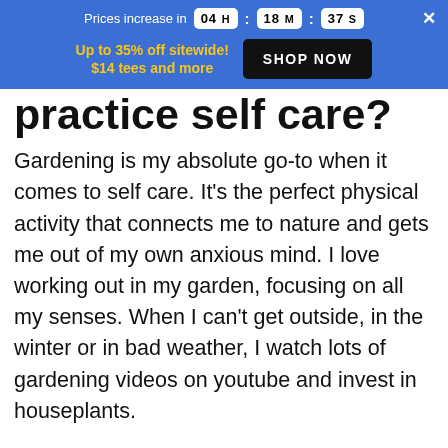Prices increase in 04 H : 18 M : 37 S
Up to 35% off sitewide! $14 tees and more SHOP NOW
practice self care?
Gardening is my absolute go-to when it comes to self care. It's the perfect physical activity that connects me to nature and gets me out of my own anxious mind. I love working out in my garden, focusing on all my senses. When I can't get outside, in the winter or in bad weather, I watch lots of gardening videos on youtube and invest in houseplants.